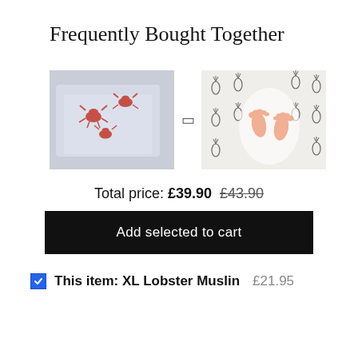Frequently Bought Together
[Figure (photo): Folded muslin cloth with red lobster print pattern on light blue/grey background]
[Figure (photo): Baby feet peeking out of a white muslin blanket with black pineapple print pattern]
Total price: £39.90 £43.90
Add selected to cart
This item: XL Lobster Muslin £21.95